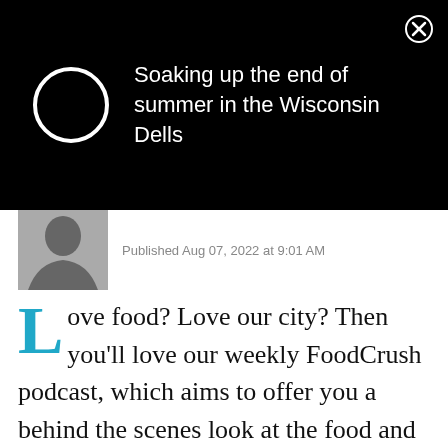[Figure (screenshot): Black notification banner with a white circle logo/spinner on the left, and text 'Soaking up the end of summer in the Wisconsin Dells' on the right, with an X close button in the top-right corner.]
[Figure (photo): Black and white author photo showing a person from shoulders up.]
Published Aug 07, 2022 at 9:01 AM
Love food? Love our city? Then you'll love our weekly FoodCrush podcast, which aims to offer you a behind the scenes look at the food and drink of Milwaukee, through the eyes of its creators.
You'll  be inspired by the tenacity, passion and fortitude of the chefs, restaurant owners, makers